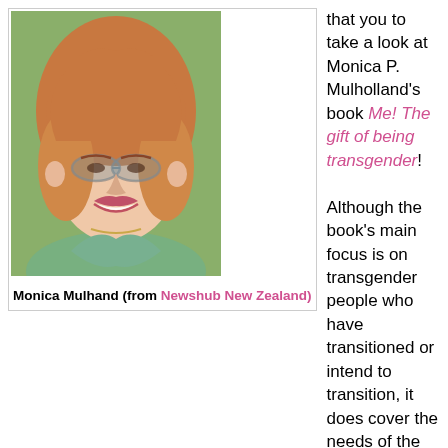[Figure (photo): Portrait photo of Monica Mulhand, a woman with reddish-blonde hair, glasses, smiling, wearing a green top.]
Monica Mulhand (from Newshub New Zealand)
that you to take a look at Monica P. Mulholland's book Me! The gift of being transgender! Although the book's main focus is on transgender people who have transitioned or intend to transition, it does cover the needs of the whole transgender spectrum.
There is even a chapter on crossdreaming. Most MTF crossdreamers and crossdressers will therefore find something of interest.
Monica herself courageously discusses the dark side of being transgender, including the pain of gender dysphoria, the fear of social exclusion and the possibility of self-harm and suicide attempts.